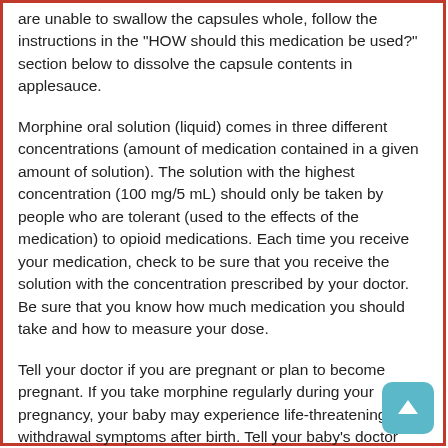are unable to swallow the capsules whole, follow the instructions in the "HOW should this medication be used?" section below to dissolve the capsule contents in applesauce.
Morphine oral solution (liquid) comes in three different concentrations (amount of medication contained in a given amount of solution). The solution with the highest concentration (100 mg/5 mL) should only be taken by people who are tolerant (used to the effects of the medication) to opioid medications. Each time you receive your medication, check to be sure that you receive the solution with the concentration prescribed by your doctor. Be sure that you know how much medication you should take and how to measure your dose.
Tell your doctor if you are pregnant or plan to become pregnant. If you take morphine regularly during your pregnancy, your baby may experience life-threatening withdrawal symptoms after birth. Tell your baby's doctor right away if your baby experiences any of the following symptoms: irritability, hyperactivity, abnormal sleep, high